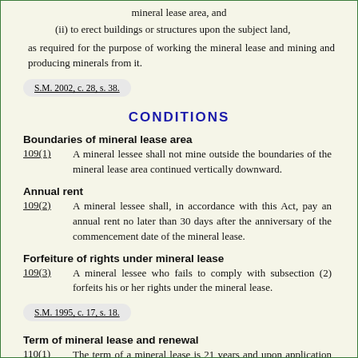mineral lease area, and
(ii) to erect buildings or structures upon the subject land,
as required for the purpose of working the mineral lease and mining and producing minerals from it.
S.M. 2002, c. 28, s. 38.
CONDITIONS
Boundaries of mineral lease area
109(1)   A mineral lessee shall not mine outside the boundaries of the mineral lease area continued vertically downward.
Annual rent
109(2)   A mineral lessee shall, in accordance with this Act, pay an annual rent no later than 30 days after the anniversary of the commencement date of the mineral lease.
Forfeiture of rights under mineral lease
109(3)   A mineral lessee who fails to comply with subsection (2) forfeits his or her rights under the mineral lease.
S.M. 1995, c. 17, s. 18.
Term of mineral lease and renewal
110(1)   The term of a mineral lease is 21 years and upon application to the minister, made at least six months prior to expiration